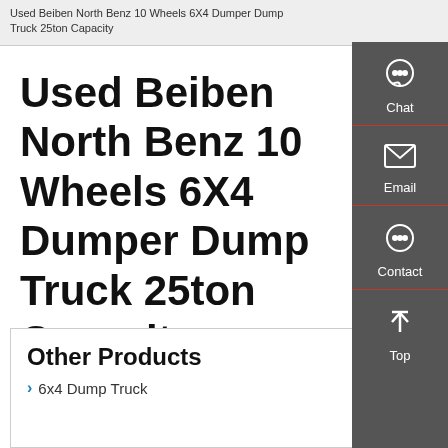Used Beiben North Benz 10 Wheels 6X4 Dumper Dump Truck 25ton Capacity
Used Beiben North Benz 10 Wheels 6X4 Dumper Dump Truck 25ton Capacity
Other Products
6x4 Dump Truck